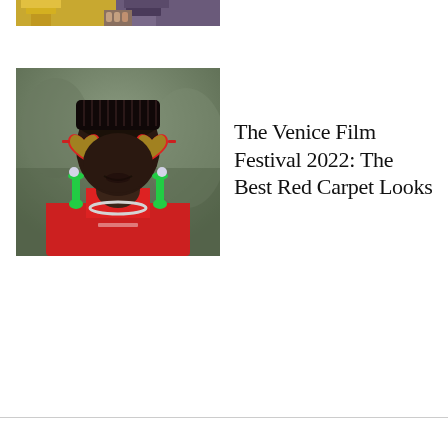[Figure (photo): Partial top view of two women at a fashion event, cropped at the top of the page]
[Figure (photo): Portrait of a Black woman wearing red heart-shaped sunglasses with green lenses, large green drop earrings, a silver chain necklace, and a red top, photographed outdoors with a blurred background]
The Venice Film Festival 2022: The Best Red Carpet Looks